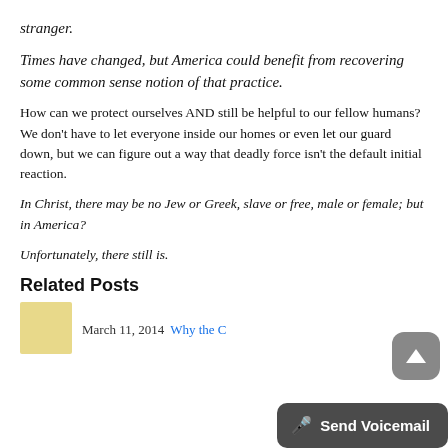stranger.
Times have changed, but America could benefit from recovering some common sense notion of that practice.
How can we protect ourselves AND still be helpful to our fellow humans? We don't have to let everyone inside our homes or even let our guard down, but we can figure out a way that deadly force isn't the default initial reaction.
In Christ, there may be no Jew or Greek, slave or free, male or female; but in America?
Unfortunately, there still is.
Related Posts
March 11, 2014  Why the C…